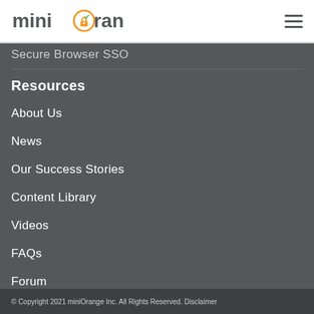miniOrange [logo] [hamburger menu]
Secure Browser SSO
Resources
About Us
News
Our Success Stories
Content Library
Videos
FAQs
Forum
© Copyright 2021 miniOrange Inc. All Rights Reserved. Disclaimer